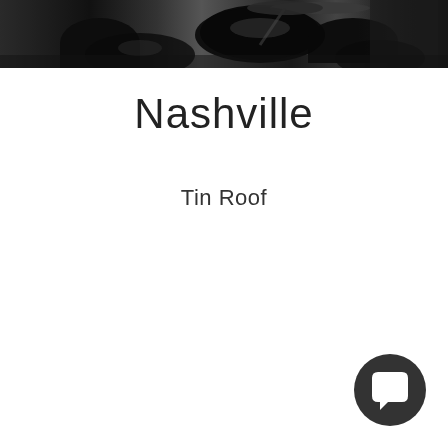[Figure (photo): Black and white photo of drums/percussion instruments on a stage, partially cropped at the top of the page]
Nashville
Tin Roof
[Figure (illustration): Dark circular chat/message button icon in bottom-right corner]